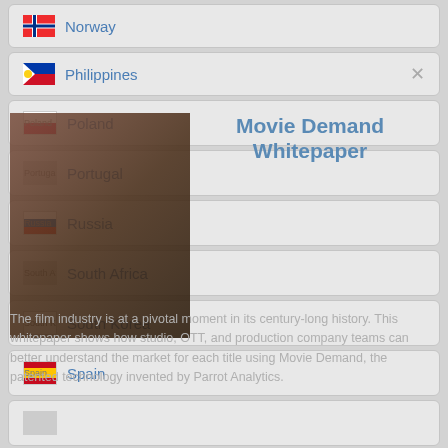Norway
Philippines
Poland
Portugal
Russia
South Africa
South Korea
Spain
[Figure (screenshot): Movie Demand Whitepaper modal overlay with movie background image, title 'Movie Demand Whitepaper', and descriptive text about the film industry and Parrot Analytics]
The film industry is at a pivotal moment in its century-long history. This whitepaper shows how studio, OTT, and production company teams can better understand the market for each title using Movie Demand, the patented technology invented by Parrot Analytics.